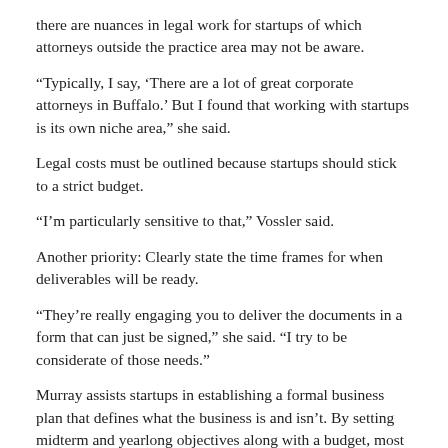there are nuances in legal work for startups of which attorneys outside the practice area may not be aware.
“Typically, I say, ‘There are a lot of great corporate attorneys in Buffalo.’ But I found that working with startups is its own niche area,” she said.
Legal costs must be outlined because startups should stick to a strict budget.
“I’m particularly sensitive to that,” Vossler said.
Another priority: Clearly state the time frames for when deliverables will be ready.
“They’re really engaging you to deliver the documents in a form that can just be signed,” she said. “I try to be considerate of those needs.”
Murray assists startups in establishing a formal business plan that defines what the business is and isn’t. By setting midterm and yearlong objectives along with a budget, most should be able to get off the ground with few hiccups.
“You need to plan for those things because you’re going to have to finance those things until you generate income,” Murray said.